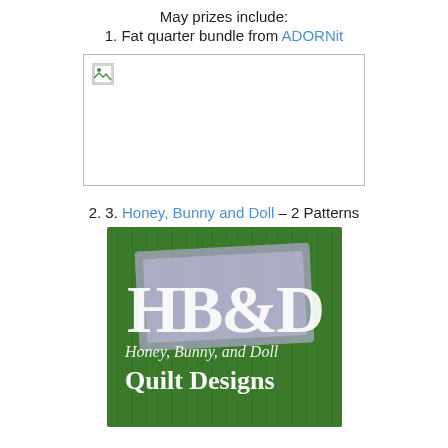May prizes include:
1. Fat quarter bundle from ADORNit
[Figure (photo): Broken/missing image placeholder with border box]
2. 3. Honey, Bunny and Doll – 2 Patterns
[Figure (photo): HB&D Honey, Bunny and Doll Quilt Designs logo image on green grass background with quilt]